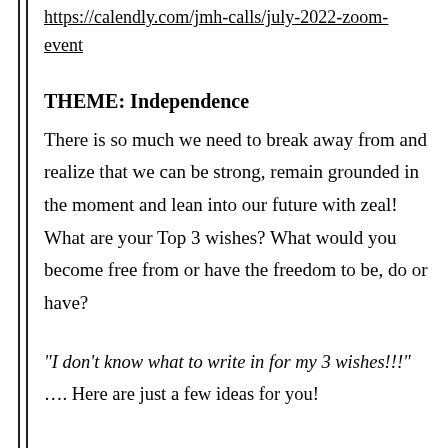https://calendly.com/jmh-calls/july-2022-zoom-event
THEME: Independence
There is so much we need to break away from and realize that we can be strong, remain grounded in the moment and lean into our future with zeal! What are your Top 3 wishes? What would you become free from or have the freedom to be, do or have?
"I don't know what to write in for my 3 wishes!!!"
…. Here are just a few ideas for you!